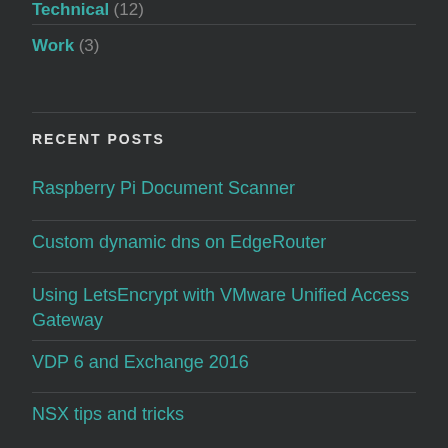Technical (12)
Work (3)
RECENT POSTS
Raspberry Pi Document Scanner
Custom dynamic dns on EdgeRouter
Using LetsEncrypt with VMware Unified Access Gateway
VDP 6 and Exchange 2016
NSX tips and tricks